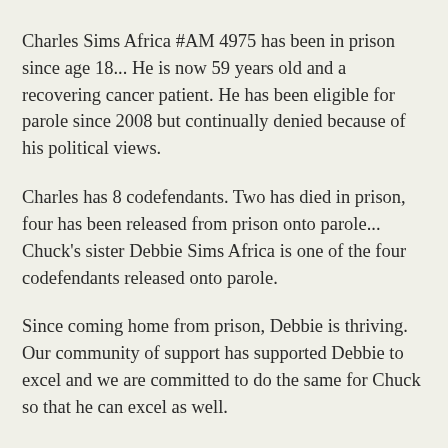Charles Sims Africa #AM 4975 has been in prison since age 18... He is now 59 years old and a recovering cancer patient. He has been eligible for parole since 2008 but continually denied because of his political views.
Charles has 8 codefendants. Two has died in prison, four has been released from prison onto parole... Chuck's sister Debbie Sims Africa is one of the four codefendants released onto parole.
Since coming home from prison, Debbie is thriving. Our community of support has supported Debbie to excel and we are committed to do the same for Chuck so that he can excel as well.